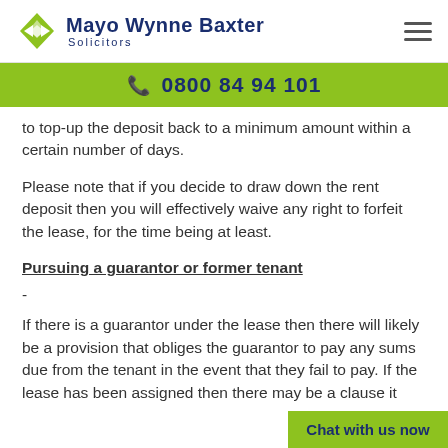Mayo Wynne Baxter Solicitors | 0800 84 94 101
to top-up the deposit back to a minimum amount within a certain number of days.
Please note that if you decide to draw down the rent deposit then you will effectively waive any right to forfeit the lease, for the time being at least.
Pursuing a guarantor or former tenant
-
If there is a guarantor under the lease then there will likely be a provision that obliges the guarantor to pay any sums due from the tenant in the event that they fail to pay. If the lease has been assigned then there may be a clause it
Chat with us now